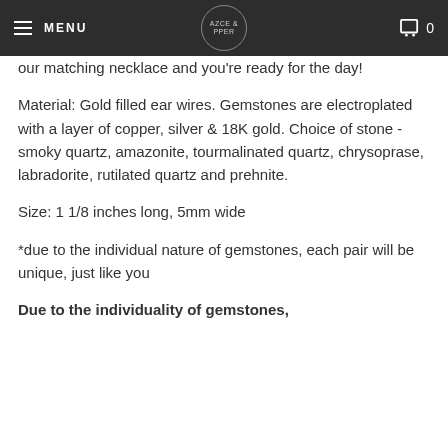MENU | AZCE & PPER | 0
our matching necklace and you're ready for the day!
Material: Gold filled ear wires. Gemstones are electroplated with a layer of copper, silver & 18K gold. Choice of stone - smoky quartz, amazonite, tourmalinated quartz, chrysoprase, labradorite, rutilated quartz and prehnite.
Size: 1 1/8 inches long, 5mm wide
*due to the individual nature of gemstones, each pair will be unique, just like you
Due to the individuality of gemstones,